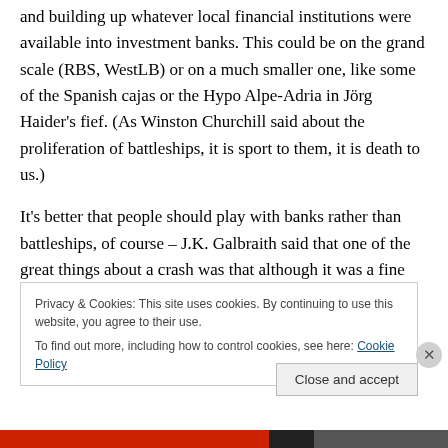and building up whatever local financial institutions were available into investment banks. This could be on the grand scale (RBS, WestLB) or on a much smaller one, like some of the Spanish cajas or the Hypo Alpe-Adria in Jörg Haider's fief. (As Winston Churchill said about the proliferation of battleships, it is sport to them, it is death to us.)
It's better that people should play with banks rather than battleships, of course – J.K. Galbraith said that one of the great things about a crash was that although it was a fine
Privacy & Cookies: This site uses cookies. By continuing to use this website, you agree to their use.
To find out more, including how to control cookies, see here: Cookie Policy
Close and accept